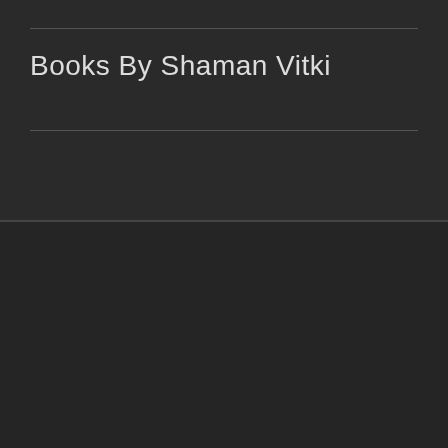Books By Shaman Vitki
FOLLOW ME
[Figure (other): Social media icons row: Facebook (blue), Twitter (blue), LinkedIn (blue), RSS (orange), YouTube (red)]
RECENT POSTS
Featured Artist Willey Thompson